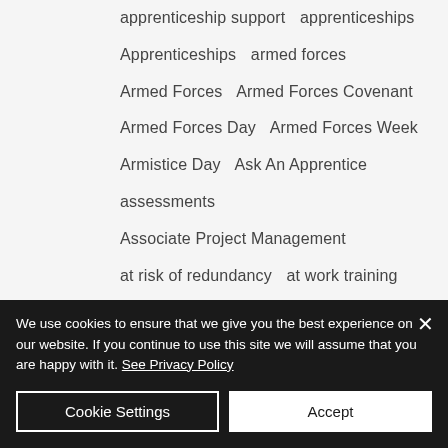apprenticeship support   apprenticeships
Apprenticeships   armed forces
Armed Forces   Armed Forces Covenant
Armed Forces Day   Armed Forces Week
Armistice Day   Ask An Apprentice
assessments
Associate Project Management
at risk of redundancy   at work training
Autism   Autism Awareness
Autism Awareness Day   Autism learning
We use cookies to ensure that we give you the best experience on our website. If you continue to use this site we will assume that you are happy with it. See Privacy Policy
Cookie Settings   Accept